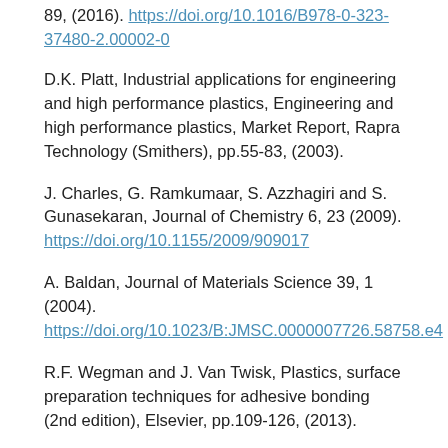89, (2016). https://doi.org/10.1016/B978-0-323-37480-2.00002-0
D.K. Platt, Industrial applications for engineering and high performance plastics, Engineering and high performance plastics, Market Report, Rapra Technology (Smithers), pp.55-83, (2003).
J. Charles, G. Ramkumaar, S. Azzhagiri and S. Gunasekaran, Journal of Chemistry 6, 23 (2009). https://doi.org/10.1155/2009/909017
A. Baldan, Journal of Materials Science 39, 1 (2004). https://doi.org/10.1023/B:JMSC.0000007726.58758.e4
R.F. Wegman and J. Van Twisk, Plastics, surface preparation techniques for adhesive bonding (2nd edition), Elsevier, pp.109-126, (2013).
I.J. Zvonkina, Adhesion of Polymer Coatings: Principles and Evaluation, edited by M. Hosseini and A. Makhlouf (eds.), Industrial Applications for Intelligent Polymers and Coatings,